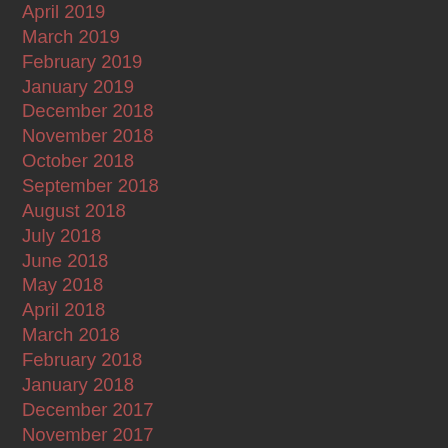April 2019
March 2019
February 2019
January 2019
December 2018
November 2018
October 2018
September 2018
August 2018
July 2018
June 2018
May 2018
April 2018
March 2018
February 2018
January 2018
December 2017
November 2017
October 2017
September 2017
August 2017